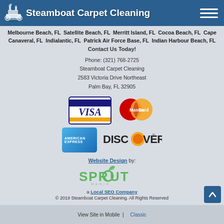Steamboat Carpet Cleaning
Melbourne Beach, FL  Satellite Beach, FL  Merritt Island, FL  Cocoa Beach, FL  Cape Canaveral, FL  Indialantic, FL  Patrick Air Force Base, FL  Indian Harbour Beach, FL
Contact Us Today!
Phone: (321) 768-2725
Steamboat Carpet Cleaning
2583 Victoria Drive Northeast
Palm Bay, FL 32905
[Figure (logo): VISA credit card logo]
[Figure (logo): MasterCard credit card logo]
[Figure (logo): American Express credit card logo]
[Figure (logo): Discover credit card logo]
Website Design by:
[Figure (logo): Sprout Media logo]
a Local SEO Company
© 2019 Steamboat Carpet Cleaning. All Rights Reserved
View Site in Mobile  |  Classic